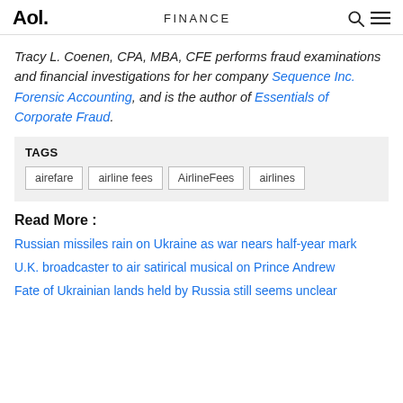Aol. | FINANCE
Tracy L. Coenen, CPA, MBA, CFE performs fraud examinations and financial investigations for her company Sequence Inc. Forensic Accounting, and is the author of Essentials of Corporate Fraud.
TAGS
airefare
airline fees
AirlineFees
airlines
Read More :
Russian missiles rain on Ukraine as war nears half-year mark
U.K. broadcaster to air satirical musical on Prince Andrew
Fate of Ukrainian lands held by Russia still seems unclear